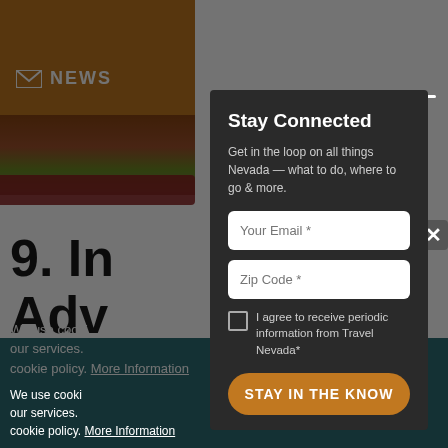[Figure (screenshot): Background website page partially visible behind a newsletter modal overlay. Shows orange header bar with envelope icon and 'NEWSLETTER' text, landscape photo strip, red brush stroke, large bold text '9. In Adv The Rea', and teal cookie consent bar at bottom.]
Stay Connected
Get in the loop on all things Nevada — what to do, where to go & more.
Your Email *
Zip Code *
I agree to receive periodic information from Travel Nevada*
STAY IN THE KNOW
We use cooki our services. cookie policy. More Information